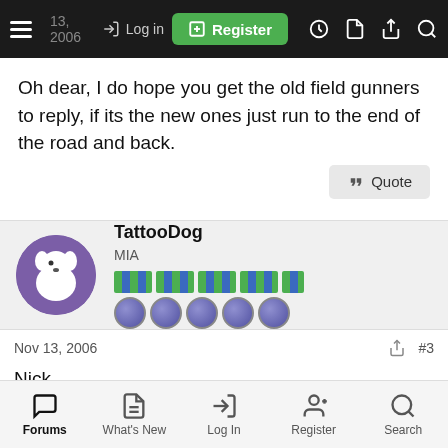Nov 13, 2006 — Log in | Register
Oh dear, I do hope you get the old field gunners to reply, if its the new ones just run to the end of the road and back.
TattooDog
MIA
Nov 13, 2006   #3
Nick,
Try contacting via one of the following sites:
Forums | What's New | Log In | Register | Search